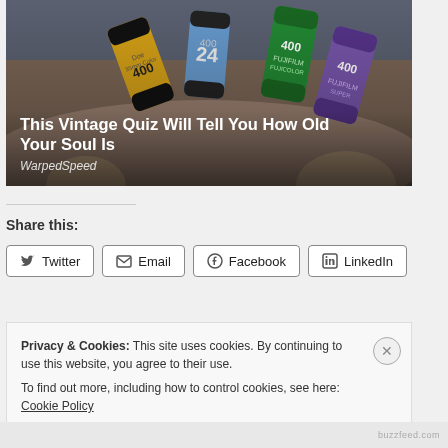[Figure (photo): Hand holding multiple vintage film canisters including Fujifilm 400, Kodak 400, and other 35mm film rolls in various colors (yellow, blue, green, purple)]
This Vintage Quiz Will Tell You How Old Your Soul Is
WarpedSpeed
Share this:
Twitter  Email  Facebook  LinkedIn
Privacy & Cookies: This site uses cookies. By continuing to use this website, you agree to their use.
To find out more, including how to control cookies, see here: Cookie Policy
Close and accept